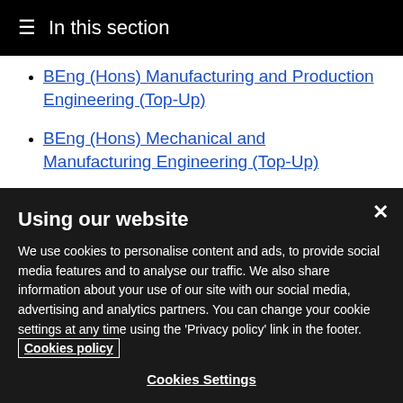≡ In this section
BEng (Hons) Manufacturing and Production Engineering (Top-Up)
BEng (Hons) Mechanical and Manufacturing Engineering (Top-Up)
BEng (Hons) Mechanical Engineering
Using our website
We use cookies to personalise content and ads, to provide social media features and to analyse our traffic. We also share information about your use of our site with our social media, advertising and analytics partners. You can change your cookie settings at any time using the 'Privacy policy' link in the footer. Cookies policy
Cookies Settings